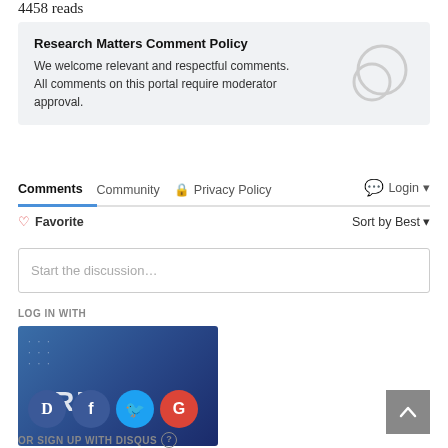4458 reads
Research Matters Comment Policy
We welcome relevant and respectful comments. All comments on this portal require moderator approval.
[Figure (illustration): Chat bubble icon in light gray]
Comments  Community  🔒 Privacy Policy  💬 Login ▾
♡ Favorite   Sort by Best ▾
Start the discussion…
LOG IN WITH
[Figure (screenshot): Social login block with Research Matters branding and D, F (Facebook), Twitter, G (Google) icons]
OR SIGN UP WITH DISQUS ?